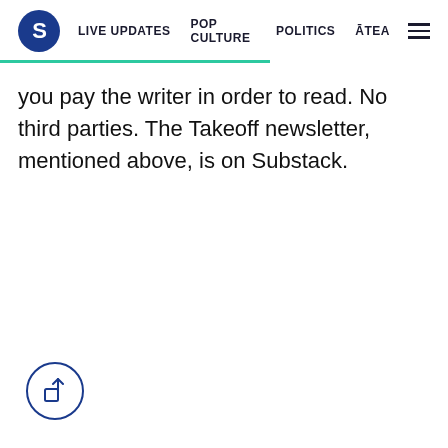S  LIVE UPDATES  POP CULTURE  POLITICS  ĀTEA
you pay the writer in order to read. No third parties. The Takeoff newsletter, mentioned above, is on Substack.
[Figure (other): Share/export icon inside a circle]